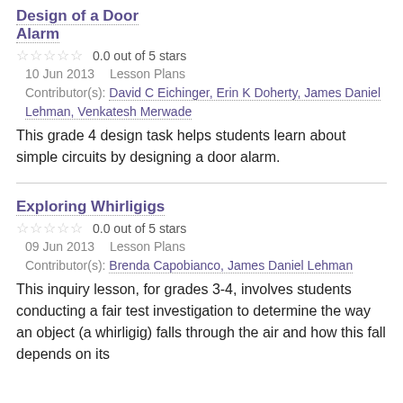Design of a Door Alarm
0.0 out of 5 stars
10 Jun 2013    Lesson Plans    Contributor(s): David C Eichinger, Erin K Doherty, James Daniel Lehman, Venkatesh Merwade
This grade 4 design task helps students learn about simple circuits by designing a door alarm.
Exploring Whirligigs
0.0 out of 5 stars
09 Jun 2013    Lesson Plans    Contributor(s): Brenda Capobianco, James Daniel Lehman
This inquiry lesson, for grades 3-4, involves students conducting a fair test investigation to determine the way an object (a whirligig) falls through the air and how this fall depends on its